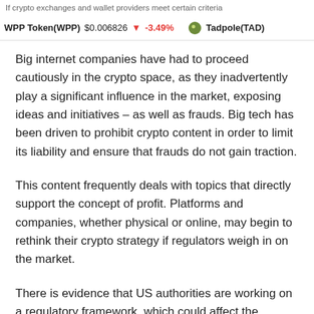If crypto exchanges and wallet providers meet certain criteria
WPP Token(WPP)  $0.006826  ↓ -3.49%  Tadpole(TAD)
Big internet companies have had to proceed cautiously in the crypto space, as they inadvertently play a significant influence in the market, exposing ideas and initiatives – as well as frauds. Big tech has been driven to prohibit crypto content in order to limit its liability and ensure that frauds do not gain traction.
This content frequently deals with topics that directly support the concept of profit. Platforms and companies, whether physical or online, may begin to rethink their crypto strategy if regulators weigh in on the market.
There is evidence that US authorities are working on a regulatory framework, which could affect the exposure of cryptocurrency in the future. Regulators do not appear to have